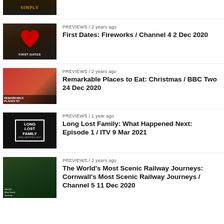PREVIEWS / 2 years ago — First Dates: Fireworks / Channel 4 2 Dec 2020
PREVIEWS / 2 years ago — Remarkable Places to Eat: Christmas / BBC Two 24 Dec 2020
PREVIEWS / 1 year ago — Long Lost Family: What Happened Next: Episode 1 / ITV 9 Mar 2021
PREVIEWS / 2 years ago — The World's Most Scenic Railway Journeys: Cornwall's Most Scenic Railway Journeys / Channel 5 11 Dec 2020